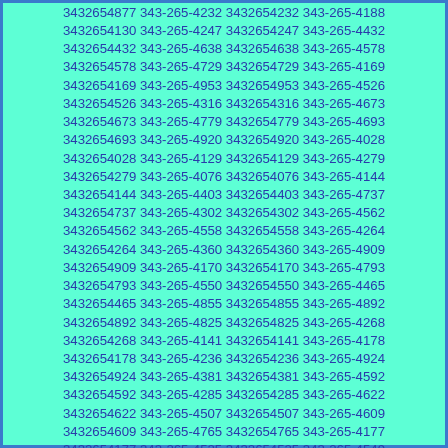3432654130 343-265-4247 3432654247 343-265-4432 3432654432 343-265-4638 3432654638 343-265-4578 3432654578 343-265-4729 3432654729 343-265-4169 3432654169 343-265-4953 3432654953 343-265-4526 3432654526 343-265-4316 3432654316 343-265-4673 3432654673 343-265-4779 3432654779 343-265-4693 3432654693 343-265-4920 3432654920 343-265-4028 3432654028 343-265-4129 3432654129 343-265-4279 3432654279 343-265-4076 3432654076 343-265-4144 3432654144 343-265-4403 3432654403 343-265-4737 3432654737 343-265-4302 3432654302 343-265-4562 3432654562 343-265-4558 3432654558 343-265-4264 3432654264 343-265-4360 3432654360 343-265-4909 3432654909 343-265-4170 3432654170 343-265-4793 3432654793 343-265-4550 3432654550 343-265-4465 3432654465 343-265-4855 3432654855 343-265-4892 3432654892 343-265-4825 3432654825 343-265-4268 3432654268 343-265-4141 3432654141 343-265-4178 3432654178 343-265-4236 3432654236 343-265-4924 3432654924 343-265-4381 3432654381 343-265-4592 3432654592 343-265-4285 3432654285 343-265-4622 3432654622 343-265-4507 3432654507 343-265-4609 3432654609 343-265-4765 3432654765 343-265-4177 3432654177 343-265-4525 3432654525 343-265-4549 3432654549 343-265-4869 3432654869 343-265-4429 3432654429 343-265-4347 3432654347 343-265-4895